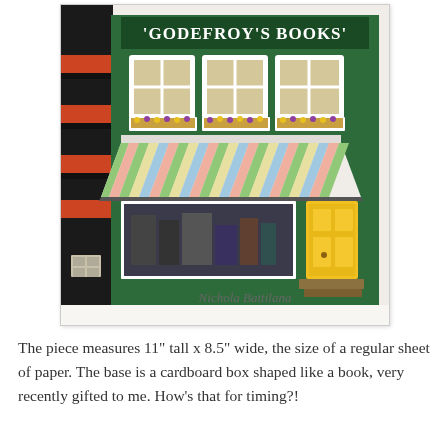[Figure (photo): A miniature diorama of a bookshop facade called 'Godefroy's Books', built on a cardboard box shaped like a book. The storefront is painted dark green with white-framed windows with flower boxes, a colorful striped awning, a yellow door, and a small wooden step. The side of the book-box shows black, orange, and white stripes. There is a handwritten signature at the bottom of the image reading 'Nichola Battilana'.]
The piece measures 11" tall x 8.5" wide, the size of a regular sheet of paper. The base is a cardboard box shaped like a book, very recently gifted to me. How's that for timing?!